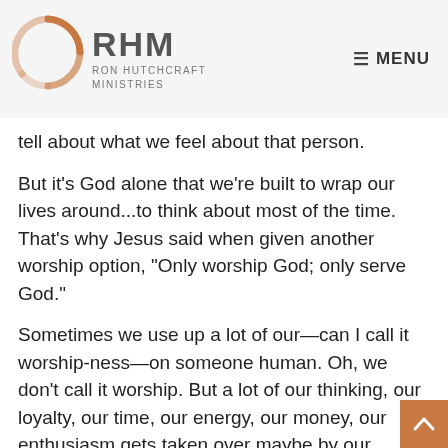RHM RON HUTCHCRAFT MINISTRIES — MENU
tell about what we feel about that person.
But it's God alone that we're built to wrap our lives around...to think about most of the time. That's why Jesus said when given another worship option, "Only worship God; only serve God."
Sometimes we use up a lot of our—can I call it worship-ness—on someone human. Oh, we don't call it worship. But a lot of our thinking, our loyalty, our time, our energy, our money, our enthusiasm gets taken over maybe by our favorite music group, or by an